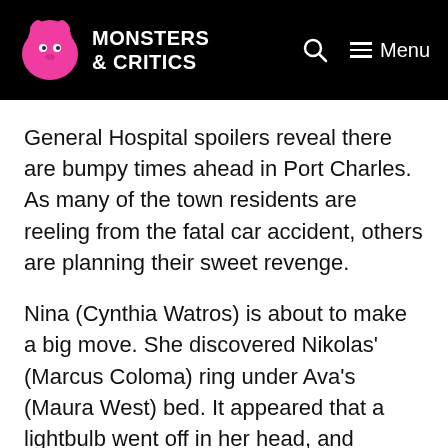Monsters & Critics
General Hospital spoilers reveal there are bumpy times ahead in Port Charles. As many of the town residents are reeling from the fatal car accident, others are planning their sweet revenge.
Nina (Cynthia Watros) is about to make a big move. She discovered Nikolas' (Marcus Coloma) ring under Ava's (Maura West) bed. It appeared that a lightbulb went off in her head, and partnering up with the town outcast may be her best bet. Will these two strong women take down two Cassasdine men with one stone?